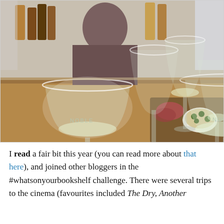[Figure (photo): Photo of multiple wine glasses on a wooden table at a wine bar or restaurant, with wine bottles visible in the background and a person seated. Glasses are branded 'NOBLE'. A charcuterie board with olives is visible on the right.]
I read a fair bit this year (you can read more about that here), and joined other bloggers in the #whatsonyourbookshelf challenge. There were several trips to the cinema (favourites included The Dry, Another Round, Bergman Island, Ma Oline, You, and The...